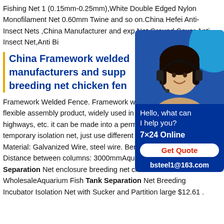Fishing Net 1 (0.15mm-0.25mm),White Double Edged Nylon Monofilament Net 0.60mm Twine and so on.China Hefei Anti-Insect Nets ,China Manufacturer and exp Net,Ground Cover,Anti Insect Net,Anti Bi
[Figure (other): Chat support widget with a photo of a customer service agent wearing a headset, blue background, showing 'Hello, what can I help you?', '7×24 Online', 'Get Quote' button, and 'bsteel1@163.com']
China Framework welded manufacturers and supp breeding net chicken fen
Framework Welded Fence. Framework w flexible assembly product, widely used in highways, etc. it can be made into a perm temporary isolation net, just use different post fixing Can achieve. Material: Galvanized Wire, steel wire. Bending length: 300 (mm) Distance between columns: 3000mmAquarium Fish Tank Separation Net enclosure breeding net chicken fence net - China WholesaleAquarium Fish Tank Separation Net Breeding Incubator Isolation Net with Sucker and Partition large $12.61 .